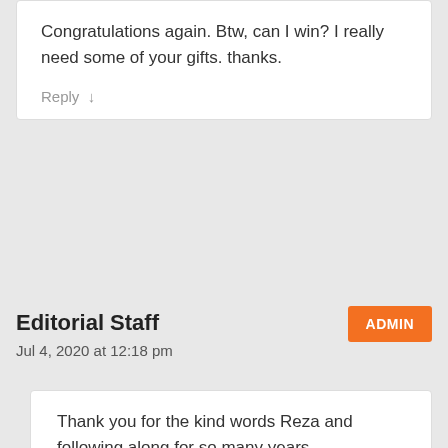Congratulations again. Btw, can I win? I really need some of your gifts. thanks.
Reply ↓
Editorial Staff
ADMIN
Jul 4, 2020 at 12:18 pm
Thank you for the kind words Reza and following along for so many years.

Giveaway is random, but I highly encourage you to enter and complete as many entries as possible to increase your chances of winning 🙁